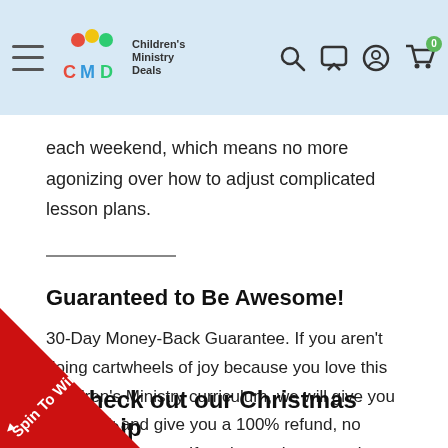Children's Ministry Deals
each weekend, which means no more agonizing over how to adjust complicated lesson plans.
Guaranteed to Be Awesome!
30-Day Money-Back Guarantee. If you aren't doing cartwheels of joy because you love this Children's Ministry curriculum, we will give you a big hug and give you a 100% refund, no matter the reason. If you're not happy, we're not happy.
to check out our Christmas Worship